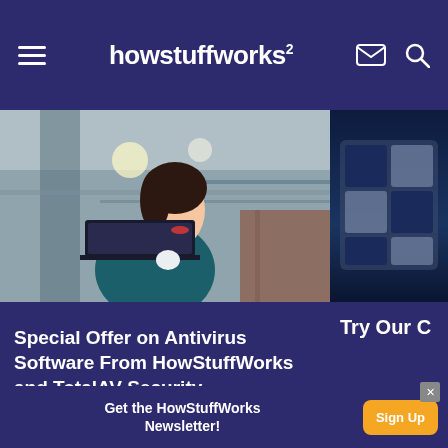howstuffworks
[Figure (photo): Woman with laptop looking upward in urban setting, promotional card for Special Offer on Antivirus Software]
Special Offer on Antivirus Software From HowStuffWorks and TotalAV Security
[Figure (photo): Partial card with crossword/grid graphic and text 'Try Our C...' partially visible]
Advertisement
[Figure (screenshot): Ad banner: Get the HowStuffWorks Newsletter! Sign Up button, with close X button]